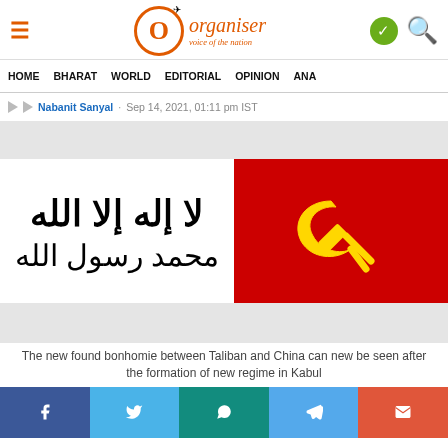Organiser – voice of the nation
HOME   BHARAT   WORLD   EDITORIAL   OPINION   ANA
Nabanit Sanyal · Sep 14, 2021, 01:11 pm IST
[Figure (photo): Taliban flag (white with Arabic Shahada text in black) on left, Chinese Communist red flag with yellow hammer and sickle on right, with grey advertisement banners above and below]
The new found bonhomie between Taliban and China can new be seen after the formation of new regime in Kabul
[Figure (infographic): Social media share buttons: Facebook (blue), Twitter (light blue), WhatsApp (teal), Telegram (blue), Email (orange-red)]